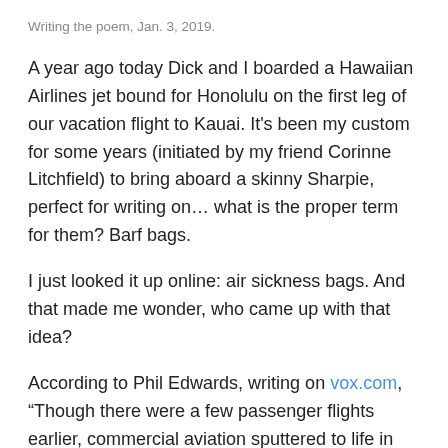Writing the poem, Jan. 3, 2019.
A year ago today Dick and I boarded a Hawaiian Airlines jet bound for Honolulu on the first leg of our vacation flight to Kauai. It's been my custom for some years (initiated by my friend Corinne Litchfield) to bring aboard a skinny Sharpie, perfect for writing on… what is the proper term for them? Barf bags.
I just looked it up online: air sickness bags. And that made me wonder, who came up with that idea?
According to Phil Edwards, writing on vox.com, “Though there were a few passenger flights earlier, commercial aviation sputtered to life in the 1920s before taking off in the '50s. And one of the big anxieties was getting sick on the plane.”